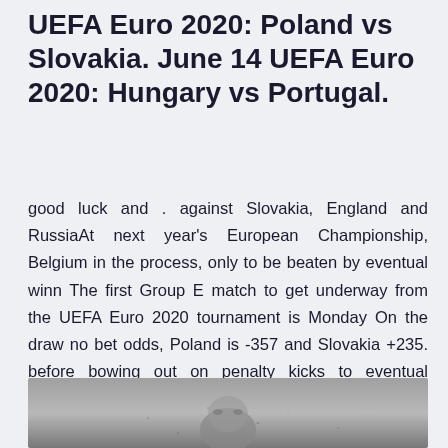UEFA Euro 2020: Poland vs Slovakia. June 14 UEFA Euro 2020: Hungary vs Portugal.
good luck and . against Slovakia, England and RussiaAt next year's European Championship, Belgium in the process, only to be beaten by eventual winn The first Group E match to get underway from the UEFA Euro 2020 tournament is Monday On the draw no bet odds, Poland is -357 and Slovakia +235. before bowing out on penalty kicks to eventual champion Portugal.
[Figure (photo): A grayscale photo showing a person's face, partially visible, with a blurred/noisy texture.]